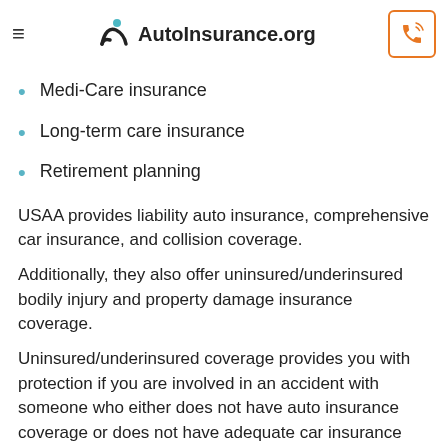AutoInsurance.org
Medi-Care insurance
Long-term care insurance
Retirement planning
USAA provides liability auto insurance, comprehensive car insurance, and collision coverage.
Additionally, they also offer uninsured/underinsured bodily injury and property damage insurance coverage.
Uninsured/underinsured coverage provides you with protection if you are involved in an accident with someone who either does not have auto insurance coverage or does not have adequate car insurance